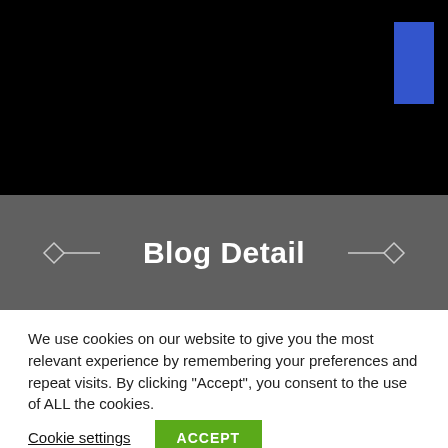[Figure (photo): Black header area with a blue rectangular button in the top right corner]
Blog Detail
We use cookies on our website to give you the most relevant experience by remembering your preferences and repeat visits. By clicking “Accept”, you consent to the use of ALL the cookies.
Cookie settings   ACCEPT